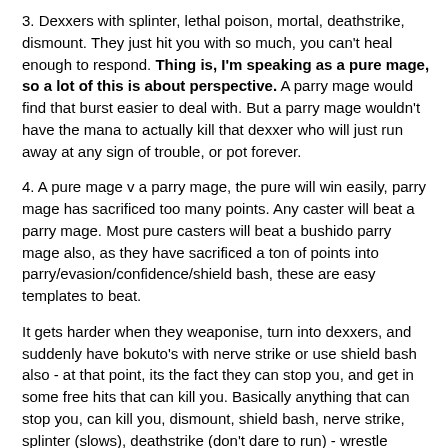3. Dexxers with splinter, lethal poison, mortal, deathstrike, dismount. They just hit you with so much, you can't heal enough to respond. Thing is, I'm speaking as a pure mage, so a lot of this is about perspective. A parry mage would find that burst easier to deal with. But a parry mage wouldn't have the mana to actually kill that dexxer who will just run away at any sign of trouble, or pot forever.
4. A pure mage v a parry mage, the pure will win easily, parry mage has sacrificed too many points. Any caster will beat a parry mage. Most pure casters will beat a bushido parry mage also, as they have sacrificed a ton of points into parry/evasion/confidence/shield bash, these are easy templates to beat.
It gets harder when they weaponise, turn into dexxers, and suddenly have bokuto's with nerve strike or use shield bash also - at that point, its the fact they can stop you, and get in some free hits that can kill you. Basically anything that can stop you, can kill you, dismount, shield bash, nerve strike, splinter (slows), deathstrike (don't dare to run) - wrestle special never seems to work anymore. The point is, it's dexxers who have all the stopping moves  on their weapons - and the huge burst damage - mages don't really have any stopping moves - para can always